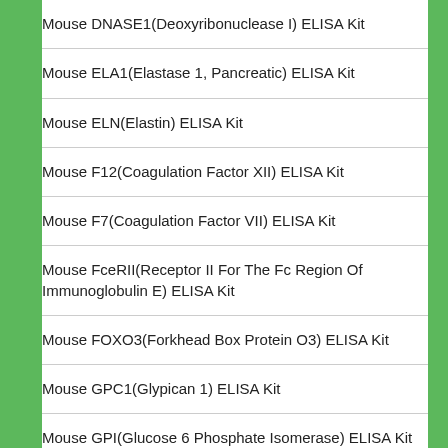Mouse DNASE1(Deoxyribonuclease I) ELISA Kit
Mouse ELA1(Elastase 1, Pancreatic) ELISA Kit
Mouse ELN(Elastin) ELISA Kit
Mouse F12(Coagulation Factor XII) ELISA Kit
Mouse F7(Coagulation Factor VII) ELISA Kit
Mouse FceRII(Receptor II For The Fc Region Of Immunoglobulin E) ELISA Kit
Mouse FOXO3(Forkhead Box Protein O3) ELISA Kit
Mouse GPC1(Glypican 1) ELISA Kit
Mouse GPI(Glucose 6 Phosphate Isomerase) ELISA Kit
Mouse HPA(Heparanase) ELISA Kit